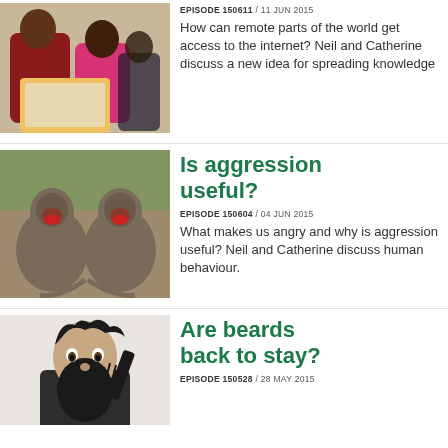[Figure (photo): Two children looking at a tablet or book together, one in red shirt, one in pink]
EPISODE 150611 / 11 JUN 2015
How can remote parts of the world get access to the internet? Neil and Catherine discuss a new idea for spreading knowledge
[Figure (photo): Two baboons facing each other aggressively, mouths open]
Is aggression useful?
EPISODE 150604 / 04 JUN 2015
What makes us angry and why is aggression useful? Neil and Catherine discuss human behaviour.
[Figure (photo): Man with dark hair and long beard holding a comb, looking surprised]
Are beards back to stay?
EPISODE 150528 / 28 MAY 2015